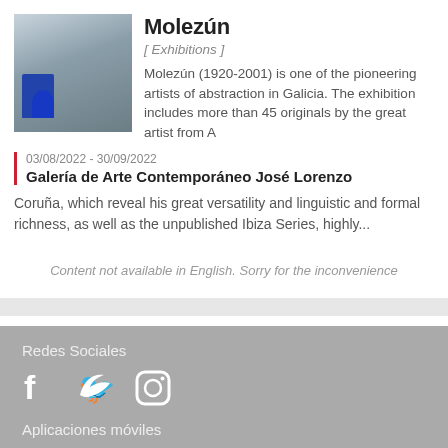[Figure (photo): Photo of a gallery room with abstract paintings on the wall and a blue sculptural object in the foreground]
Molezún
[ Exhibitions ]
Molezún (1920-2001) is one of the pioneering artists of abstraction in Galicia. The exhibition includes more than 45 originals by the great artist from A
03/08/2022 - 30/09/2022
Galería de Arte Contemporáneo José Lorenzo
Coruña, which reveal his great versatility and linguistic and formal richness, as well as the unpublished Ibiza Series, highly...
Content not available in English. Sorry for the inconvenience
Redes Sociales
[Figure (logo): Facebook, Twitter, and Instagram social media icons in white]
Aplicaciones móviles